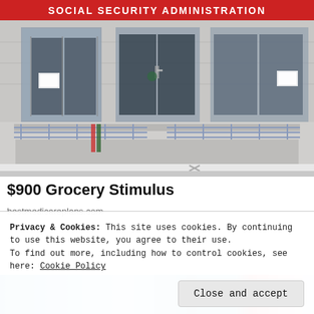[Figure (photo): Photograph of a Social Security Administration office building exterior with a red banner reading 'SOCIAL SECURITY ADMINISTRATION', glass doors, metal railings/ramps, and notices posted on doors.]
$900 Grocery Stimulus
bestmedicareplans.com
[Figure (photo): Partial view of a second image at the bottom of the page, partially obscured by the cookie consent banner. Shows colorful horizontal bands.]
Privacy & Cookies: This site uses cookies. By continuing to use this website, you agree to their use.
To find out more, including how to control cookies, see here: Cookie Policy